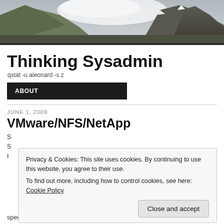[Figure (photo): Mountain landscape with rocky peaks and clouds, used as website header banner]
Thinking Sysadmin
qstat -u aleonard -s z
ABOUT
JUNE 1, 2009
VMware/NFS/NetApp
Privacy & Cookies: This site uses cookies. By continuing to use this website, you agree to their use.
To find out more, including how to control cookies, see here: Cookie Policy
Close and accept
specifically with Linux LVM encapsulated partitions.